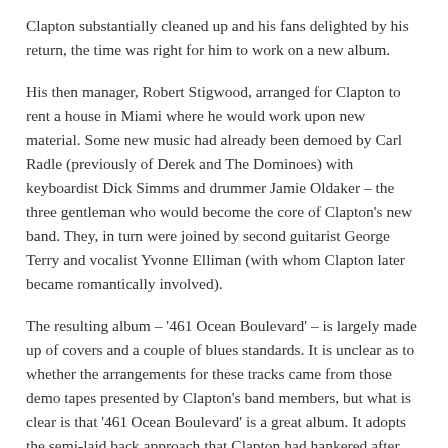Clapton substantially cleaned up and his fans delighted by his return, the time was right for him to work on a new album.
His then manager, Robert Stigwood, arranged for Clapton to rent a house in Miami where he would work upon new material. Some new music had already been demoed by Carl Radle (previously of Derek and The Dominoes) with keyboardist Dick Simms and drummer Jamie Oldaker – the three gentleman who would become the core of Clapton's new band. They, in turn were joined by second guitarist George Terry and vocalist Yvonne Elliman (with whom Clapton later became romantically involved).
The resulting album – '461 Ocean Boulevard' – is largely made up of covers and a couple of blues standards. It is unclear as to whether the arrangements for these tracks came from those demo tapes presented by Clapton's band members, but what is clear is that '461 Ocean Boulevard' is a great album. It adopts the semi-laid back approach that Clapton had hankered after back in 1970,